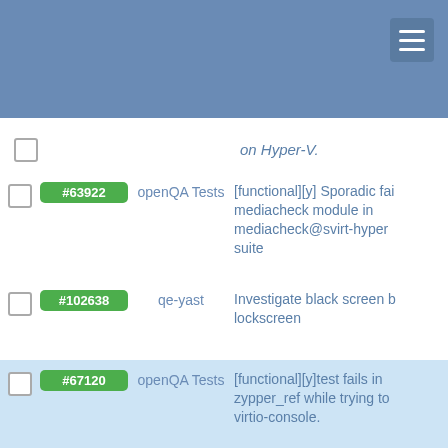on Hyper-V.
#63922 | openQA Tests | [functional][y] Sporadic failure in mediacheck module in mediacheck@svirt-hyperv suite
#102638 | qe-yast | Investigate black screen before lockscreen
#67120 | openQA Tests | [functional][y]test fails in zypper_ref while trying to use virtio-console.
#97766 | qe-yast | Adapt the order of activation ZFCP with client for libyui
#97325 | qe-yast | Collect logs in autoyast_regression when failing detecting disk during installation
#102515 | qe-yast | validate_self_update grep